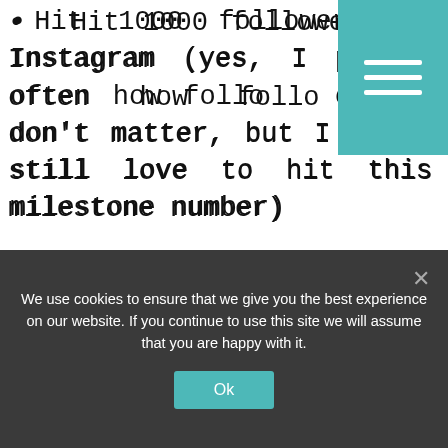Hit 1000 followers on Instagram (yes, I preach often how follower counts don't matter, but I would still love to hit this milestone number)
These are a lot of lofty goals but I'm confident that I can hit most, if not all of them, with putting some
We use cookies to ensure that we give you the best experience on our website. If you continue to use this site we will assume that you are happy with it.